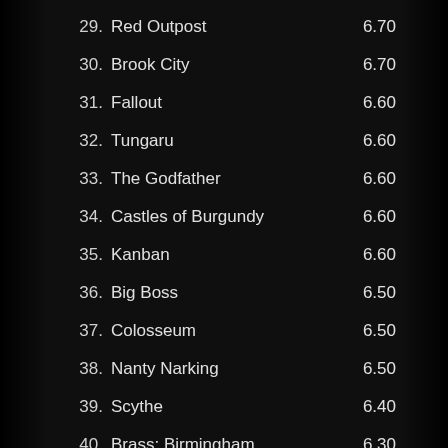29. Red Outpost 6.70
30. Brook City 6.70
31. Fallout 6.60
32. Tungaru 6.60
33. The Godfather 6.60
34. Castles of Burgundy 6.60
35. Kanban 6.60
36. Big Boss 6.50
37. Colosseum 6.50
38. Nanty Narking 6.50
39. Scythe 6.40
40. Brass: Birmingham 6.30